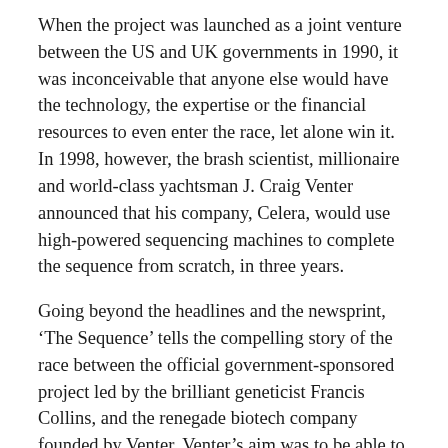When the project was launched as a joint venture between the US and UK governments in 1990, it was inconceivable that anyone else would have the technology, the expertise or the financial resources to even enter the race, let alone win it. In 1998, however, the brash scientist, millionaire and world-class yachtsman J. Craig Venter announced that his company, Celera, would use high-powered sequencing machines to complete the sequence from scratch, in three years.
Going beyond the headlines and the newsprint, ‘The Sequence’ tells the compelling story of the race between the official government-sponsored project led by the brilliant geneticist Francis Collins, and the renegade biotech company founded by Venter. Venter’s aim was to be able to patent hundreds of genes and sell precious information about the genome sequence to the pharmaceutical industry, for a fortune. Collins’s brief was to speed up an unwieldy federal program to deliver the complete sequence years earlier than projected, all the while releasing its DNA data every night to make the human genome unpatentable. And to keep pace with Venter.
The in riveting detail this book takes the reader into the labs